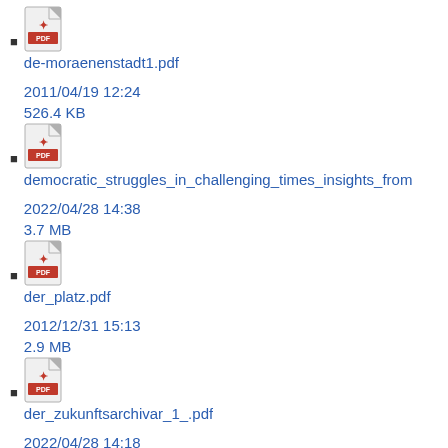de-moraenenstadt1.pdf
2011/04/19 12:24
526.4 KB
democratic_struggles_in_challenging_times_insights_from
2022/04/28 14:38
3.7 MB
der_platz.pdf
2012/12/31 15:13
2.9 MB
der_zukunftsarchivar_1_.pdf
2022/04/28 14:18